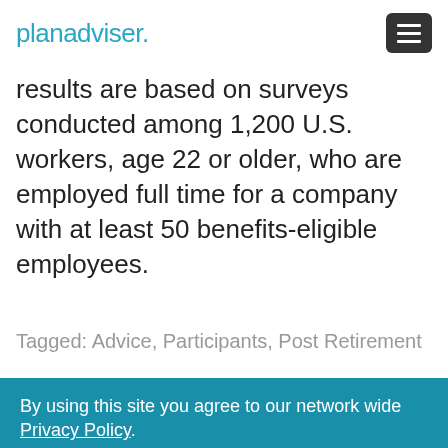planadviser.
results are based on surveys conducted among 1,200 U.S. workers, age 22 or older, who are employed full time for a company with at least 50 benefits-eligible employees.
Tagged: Advice, Participants, Post Retirement
By using this site you agree to our network wide Privacy Policy.
OK, GOT IT